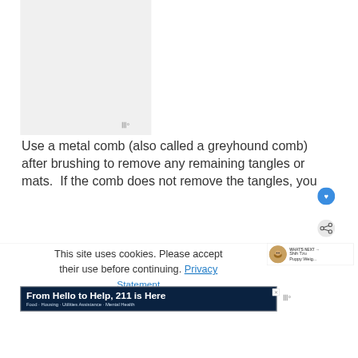[Figure (photo): Light gray placeholder image area at top of page]
Use a metal comb (also called a greyhound comb) after brushing to remove any remaining tangles or mats.  If the comb does not remove the tangles, you
This site uses cookies. Please accept their use before continuing. Privacy Statement
[Figure (photo): What's Next thumbnail showing a Shih Tzu puppy with text: WHAT'S NEXT → Shih Tzu Puppy Weig...]
From Hello to Help, 211 is Here
Food · Housing · Utilities Assistance · Mental Health